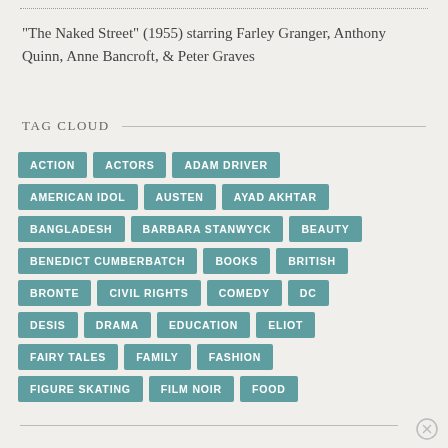"The Naked Street" (1955) starring Farley Granger, Anthony Quinn, Anne Bancroft, & Peter Graves
TAG CLOUD
ACTION
ACTORS
ADAM DRIVER
AMERICAN IDOL
AUSTEN
AYAD AKHTAR
BANGLADESH
BARBARA STANWYCK
BEAUTY
BENEDICT CUMBERBATCH
BOOKS
BRITISH
BRONTE
CIVIL RIGHTS
COMEDY
DC
DESIS
DRAMA
EDUCATION
ELIOT
FAIRY TALES
FAMILY
FASHION
FIGURE SKATING
FILM NOIR
FOOD